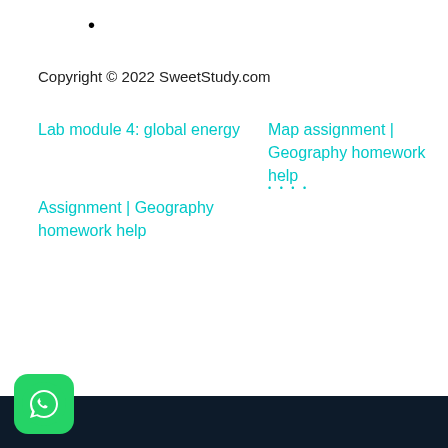•
Copyright © 2022 SweetStudy.com
Lab module 4: global energy
Map assignment  |  Geography homework help
Assignment   | Geography homework help